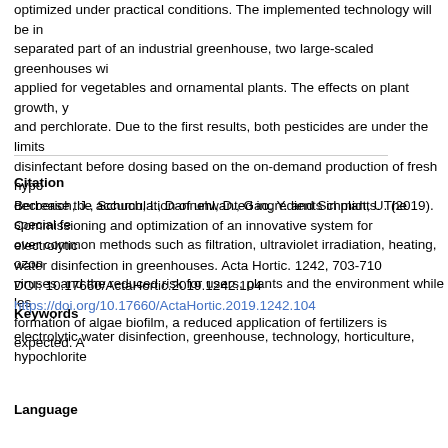optimized under practical conditions. The implemented technology will be in separated part of an industrial greenhouse, two large-scaled greenhouses wi applied for vegetables and ornamental plants. The effects on plant growth, y and perchlorate. Due to the first results, both pesticides are under the limits disinfectant before dosing based on the on-demand production of fresh hypo decrease the accumulation of unwanted ingredients in plants. The special fe over common methods such as filtration, ultraviolet irradiation, heating, ozo viruses and the reduced risk for users, plants and the environment while les formation of algae biofilm, a reduced application of fertilizers is expected. A
Citation
Berberich, J., Schuch, I., Dannehl, D., Gao, Y. and Schmidt, U. (2019). Commissioning and optimization of an innovative system for electrolytic water disinfection in greenhouses. Acta Hortic. 1242, 703-710
DOI: 10.17660/ActaHortic.2019.1242.104
https://doi.org/10.17660/ActaHortic.2019.1242.104
Keywords
electrolytic water disinfection, greenhouse, technology, horticulture, hypochlorite
Language